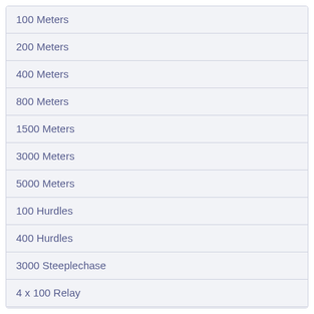| 100 Meters |
| 200 Meters |
| 400 Meters |
| 800 Meters |
| 1500 Meters |
| 3000 Meters |
| 5000 Meters |
| 100 Hurdles |
| 400 Hurdles |
| 3000 Steeplechase |
| 4 x 100 Relay |
| 4 x 400 Relay |
| High Jump |